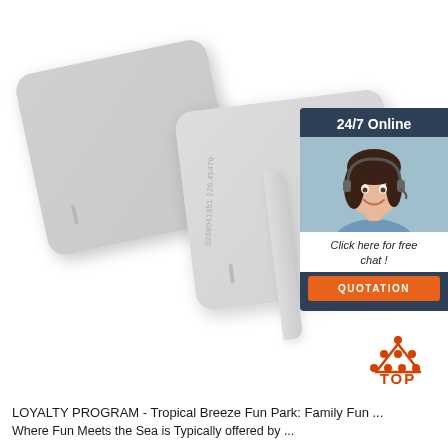[Figure (photo): Two white/grey RFID proximity cards shown at an angle. The front card has a printed number '0269041351 226.45479' and a small slot at the bottom. Both cards are plain light grey with rounded corners.]
[Figure (screenshot): 24/7 Online chat widget. Dark navy blue header reading '24/7 Online', photo of a smiling woman with a headset, text 'Click here for free chat!', and an orange button labeled 'QUOTATION'.]
[Figure (illustration): Red/orange 'TOP' button logo with dot pattern forming an upward triangle shape above the word TOP in red bold letters.]
LOYALTY PROGRAM - Tropical Breeze Fun Park: Family Fun ...
Where Fun Meets the Sea is Typically offered by...